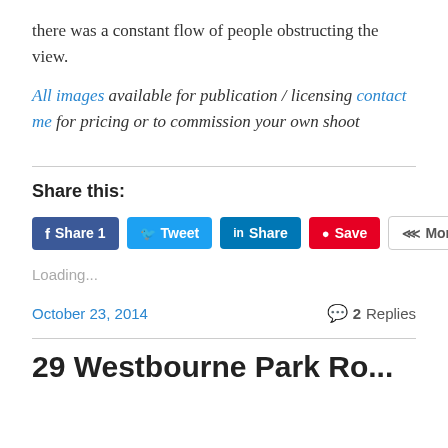there was a constant flow of people obstructing the view.
All images available for publication / licensing contact me for pricing or to commission your own shoot
Share this:
Share 1  Tweet  Share  Save  More
Loading...
October 23, 2014    2 Replies
29 Westbourne Park Ro...